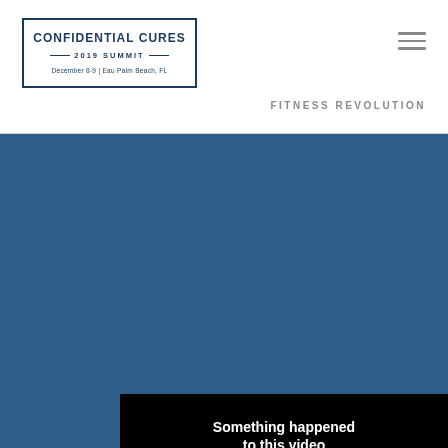[Figure (logo): Confidential Cures 2019 Summit logo, December 8-9, Eau Palm Beach, FL, in a rectangular border]
FITNESS REVOLUTION
[Figure (screenshot): Video player error screen on dark blue background showing 'Something happened to this video' with Start Over and Continue Watching buttons, error code 1209: SOURCE_PROGRESSIVE_STREAM_ERROR and id vscJ2GFXF4soyucN / x-wQAqEl8H]